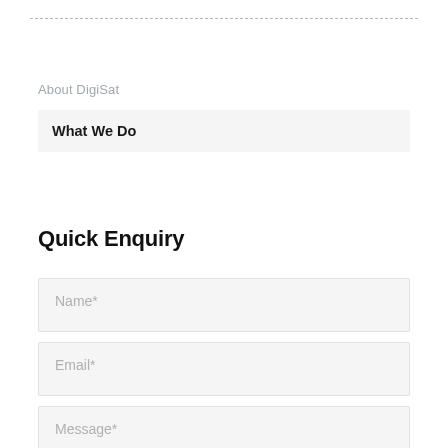About DigiSat
What We Do
Quick Enquiry
Name*
Email*
Message*